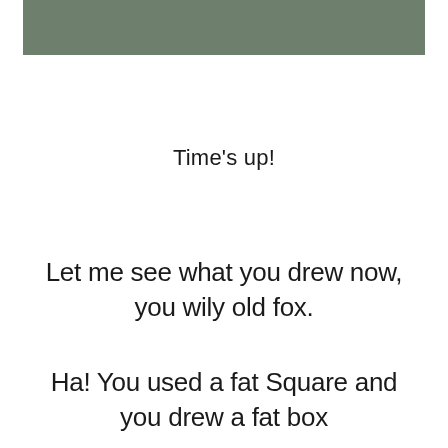[Figure (other): A muted sage green rectangular bar spanning most of the top of the page]
Time's up!
Let me see what you drew now, you wily old fox.
Ha! You used a fat Square and you drew a fat box